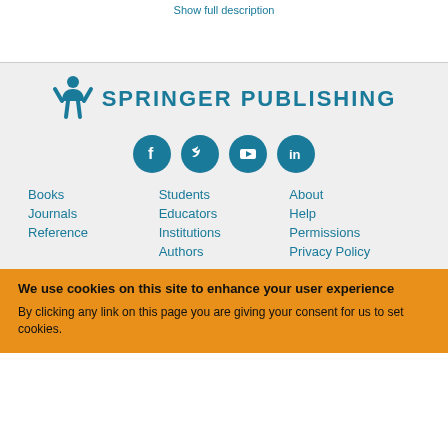Show full description
[Figure (logo): Springer Publishing logo with person figure and text SPRINGER PUBLISHING in teal]
[Figure (infographic): Four social media icons: Facebook, Twitter, YouTube, LinkedIn — teal circles with white icons]
Books
Journals
Reference
Students
Educators
Institutions
Authors
About
Help
Permissions
Privacy Policy
We use cookies on this site to enhance your user experience
By clicking any link on this page you are giving your consent for us to set cookies.